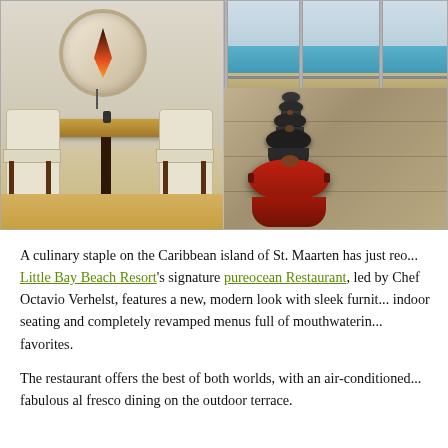[Figure (photo): Two side-by-side photos: left shows a modern restaurant interior with a round mirror/pendant light on the wall, a wooden high-top table with cream upholstered chairs, light wood flooring; right shows an outdoor terrace with a row of covered Kamado-style grills/pots along a railing overlooking the ocean and beach.]
A culinary staple on the Caribbean island of St. Maarten has just reo... Little Bay Beach Resort's signature pureocean Restaurant, led by Chef Octavio Verhelst, features a new, modern look with sleek furnit... indoor seating and completely revamped menus full of mouthwaterin... favorites.
The restaurant offers the best of both worlds, with an air-conditioned... fabulous al fresco dining on the outdoor terrace.